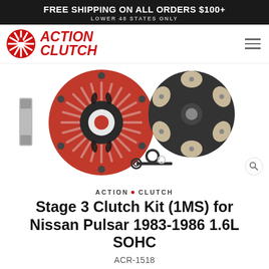FREE SHIPPING ON ALL ORDERS $100+
LOWER 48 STATES ONLY
[Figure (logo): Action Clutch logo with starburst icon and red italic text]
[Figure (photo): Stage 3 clutch kit components: red pressure plate, 6-puck sprung disc, alignment tool, flywheel bolts, and small hardware on white background]
ACTION CLUTCH
Stage 3 Clutch Kit (1MS) for Nissan Pulsar 1983-1986 1.6L SOHC
ACR-1518